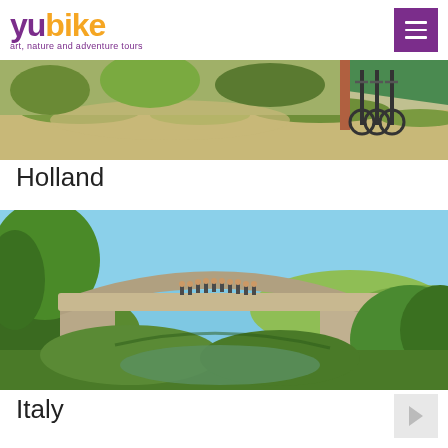[Figure (logo): Yubike logo with 'yu' in purple and 'bike' in orange, tagline 'art, nature and adventure tours' in purple]
[Figure (photo): Top partial photo showing bicycles parked near a brick wall with gravel ground and grass]
Holland
[Figure (photo): Photo of a Roman stone arch bridge with people on top, surrounded by green trees and blue sky]
Italy